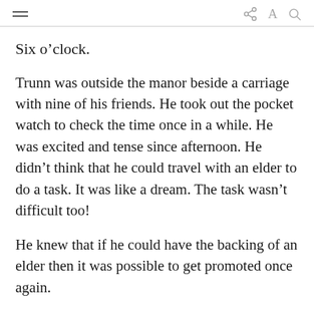≡  share A Q
Six o'clock.
Trunn was outside the manor beside a carriage with nine of his friends. He took out the pocket watch to check the time once in a while. He was excited and tense since afternoon. He didn't think that he could travel with an elder to do a task. It was like a dream. The task wasn't difficult too!
He knew that if he could have the backing of an elder then it was possible to get promoted once again.